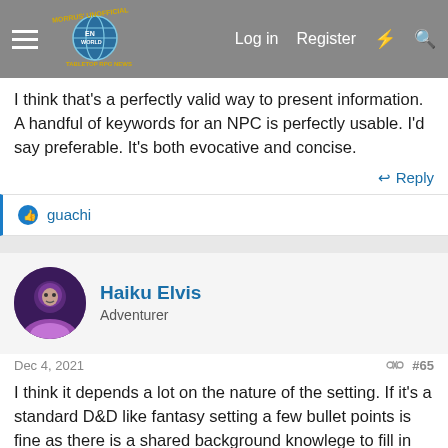Morrus' Unofficial Tabletop RPG News — Log in | Register
I think that's a perfectly valid way to present information. A handful of keywords for an NPC is perfectly usable. I'd say preferable. It's both evocative and concise.
↩ Reply
👍 guachi
Haiku Elvis
Adventurer
Dec 4, 2021  #65
I think it depends a lot on the nature of the setting. If it's a standard D&D like fantasy setting a few bullet points is fine as there is a shared background knowlege to fill in the gaps. The more unique the setting the more need of explaination